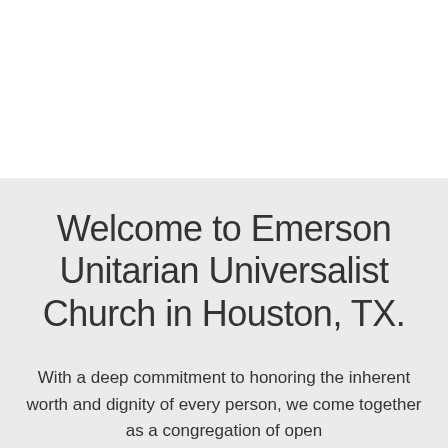Welcome to Emerson Unitarian Universalist Church in Houston, TX.
With a deep commitment to honoring the inherent worth and dignity of every person, we come together as a congregation of open